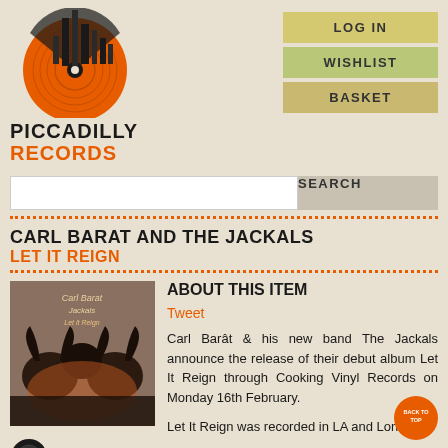[Figure (logo): Piccadilly Records logo with orange vinyl record and city skyline graphic, with 'PICCADILLY RECORDS' text below]
LOG IN
WISHLIST
BASKET
SEARCH
CARL BARAT AND THE JACKALS
LET IT REIGN
[Figure (photo): Album cover for Let It Reign by Carl Barat and The Jackals - dark image with goat/animal skulls]
ABOUT THIS ITEM
Tweet
Carl Barât & his new band The Jackals announce the release of their debut album Let It Reign through Cooking Vinyl Records on Monday 16th February.
[Figure (illustration): Vinyl record icon (black circle with white center)]
LP—£14.49
Usually ships
Let It Reign was recorded in LA and Londo